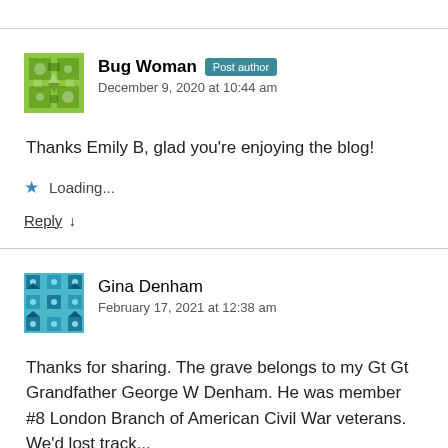[Figure (illustration): Bug Woman avatar - green illustrated pattern with leaves and shapes]
Bug Woman Post author
December 9, 2020 at 10:44 am
Thanks Emily B, glad you're enjoying the blog!
★ Loading...
Reply ↓
[Figure (illustration): Gina Denham avatar - blue and teal geometric pattern]
Gina Denham
February 17, 2021 at 12:38 am
Thanks for sharing. The grave belongs to my Gt Gt Grandfather George W Denham. He was member #8 London Branch of American Civil War veterans. We'd lost track...